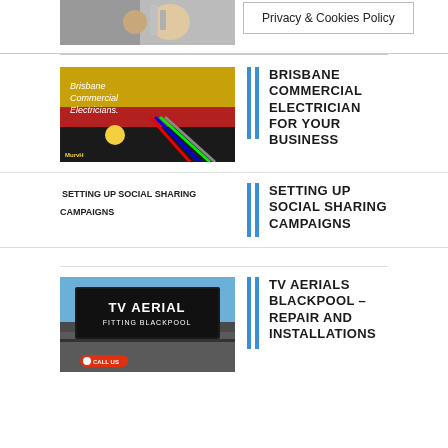[Figure (photo): Top partial image of a hand holding something metallic, cropped]
Privacy & Cookies Policy
[Figure (photo): Brisbane Commercial Electricians thumbnail with wires and yellow hard hat background]
BRISBANE COMMERCIAL ELECTRICIAN FOR YOUR BUSINESS
[Figure (photo): Broken/missing image for Setting Up Social Sharing Campaigns]
SETTING UP SOCIAL SHARING CAMPAIGNS
[Figure (photo): TV Aerial Fitting Blackpool billboard photo]
TV AERIALS BLACKPOOL – REPAIR AND INSTALLATIONS